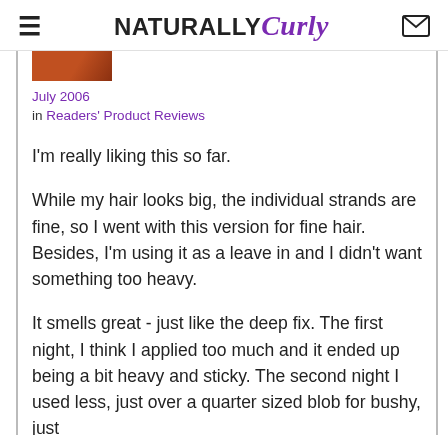NaturallyCurly
[Figure (photo): Partial product image, cropped at top]
July 2006
in Readers' Product Reviews
I'm really liking this so far.
While my hair looks big, the individual strands are fine, so I went with this version for fine hair. Besides, I'm using it as a leave in and I didn't want something too heavy.
It smells great - just like the deep fix. The first night, I think I applied too much and it ended up being a bit heavy and sticky. The second night I used less, just over a quarter sized blob for bushy, just